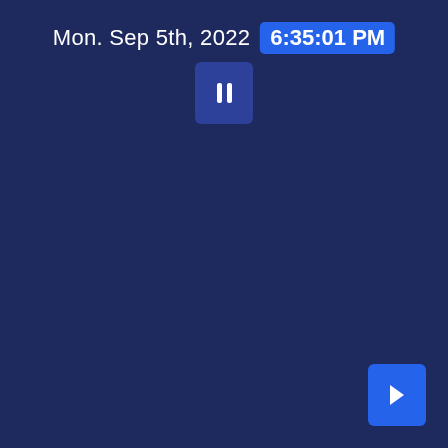Mon. Sep 5th, 2022  6:35:01 PM
[Figure (screenshot): Pause button (two vertical bars) centered below the date/time header]
[Figure (screenshot): Navigation arrow button in the bottom-right corner]